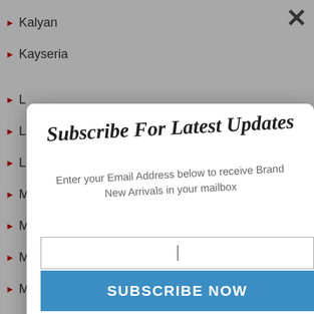Kalyan
Kayseria
L...
La...
Lin...
Mah...
Mahe...
Mahg...
Mahiyn...
Mahnur...
[Figure (screenshot): Email subscription modal dialog with title 'Subscribe For Latest Updates', subtitle 'Enter your Email Address below to receive Brand New Arrivals in your mailbox', an email input field, and a blue 'SUBSCRIBE NOW' button. The modal has a close X button in the top right corner.]